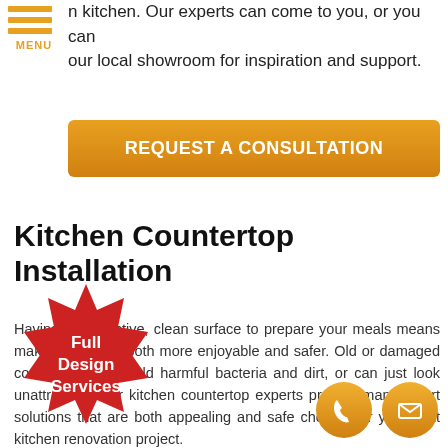n kitchen. Our experts can come to you, or you can our local showroom for inspiration and support.
REQUEST A CONSULTATION
Kitchen Countertop Installation
Having an attractive, clean surface to prepare your meals means making dinner is both more enjoyable and safer. Old or damaged countertops can hold harmful bacteria and dirt, or can just look unattractive. Our kitchen countertop experts provide many smart solutions that are both appealing and safe choices for your next kitchen renovation project.
[Figure (illustration): Red starburst badge with white bold text reading 'Full Design Services']
[Figure (illustration): Two orange circles: one with a phone handset icon and one with an envelope/mail icon]